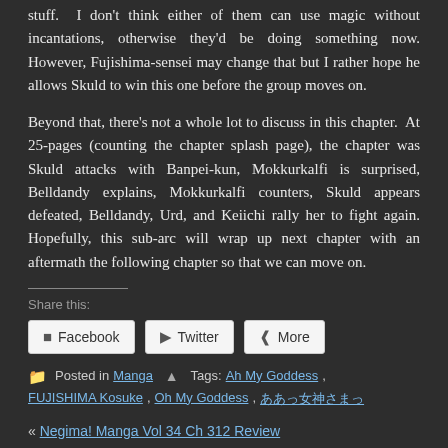stuff. I don't think either of them can use magic without incantations, otherwise they'd be doing something now. However, Fujishima-sensei may change that but I rather hope he allows Skuld to win this one before the group moves on.
Beyond that, there's not a whole lot to discuss in this chapter. At 25-pages (counting the chapter splash page), the chapter was Skuld attacks with Banpei-kun, Mokkurkalfi is surprised, Belldandy explains, Mokkurkalfi counters, Skuld appears defeated, Belldandy, Urd, and Keiichi rally her to fight again. Hopefully, this sub-arc will wrap up next chapter with an aftermath the following chapter so that we can move on.
Share this:
Facebook
Twitter
More
Posted in Manga Tags: Ah My Goddess, FUJISHIMA Kosuke, Oh My Goddess, ああっ女神さまっ
« Negima! Manga Vol 34 Ch 312 Review
Haiyoru! Nyaru-ani: Remember My Mr. Lovecraft – 03 »
You can leave a response, or trackback from your own site.